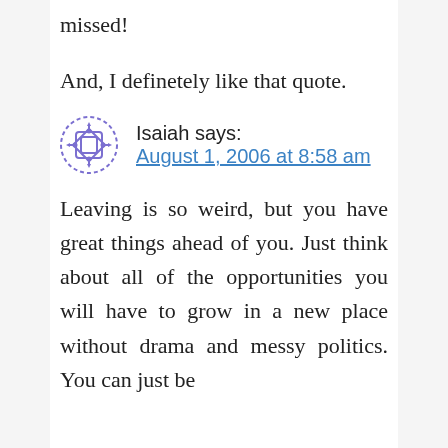missed!
And, I definetely like that quote.
Isaiah says:
August 1, 2006 at 8:58 am
Leaving is so weird, but you have great things ahead of you. Just think about all of the opportunities you will have to grow in a new place without drama and messy politics. You can just be